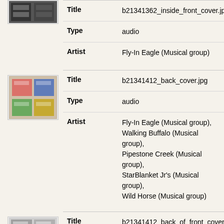| Field | Value |
| --- | --- |
| Title | b21341362_inside_front_cover.jpg |
| Type | audio |
| Artist | Fly-In Eagle (Musical group) |
| Field | Value |
| --- | --- |
| Title | b21341412_back_cover.jpg |
| Type | audio |
| Artist | Fly-In Eagle (Musical group), Walking Buffalo (Musical group), Pipestone Creek (Musical group), StarBlanket Jr's (Musical group), Wild Horse (Musical group) |
| Field | Value |
| --- | --- |
| Title | b21341412_back_of_front_cover.jpg |
| Type | audio |
| Artist | Fly-In Eagle (Musical group), Walking Buffalo (Musical group), Pipestone Creek (Musical group), |